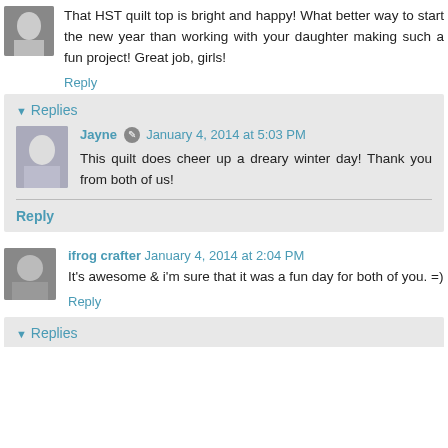That HST quilt top is bright and happy! What better way to start the new year than working with your daughter making such a fun project! Great job, girls!
Reply
Replies
Jayne  January 4, 2014 at 5:03 PM
This quilt does cheer up a dreary winter day! Thank you from both of us!
Reply
ifrog crafter  January 4, 2014 at 2:04 PM
It's awesome & i'm sure that it was a fun day for both of you. =)
Reply
Replies